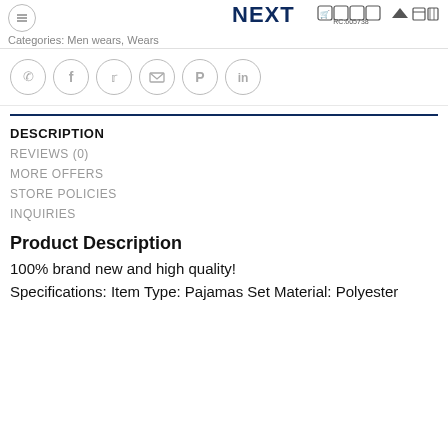Categories: Men wears, Wears
[Figure (logo): NEXT store logo with RC:605738]
[Figure (illustration): Social sharing icons: WhatsApp, Facebook, Twitter, Email, Pinterest, LinkedIn]
DESCRIPTION
REVIEWS (0)
MORE OFFERS
STORE POLICIES
INQUIRIES
Product Description
100% brand new and high quality!
Specifications: Item Type: Pajamas Set Material: Polyester